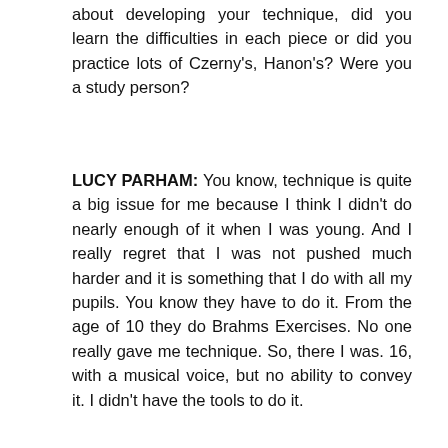about developing your technique, did you learn the difficulties in each piece or did you practice lots of Czerny's, Hanon's? Were you a study person?
LUCY PARHAM: You know, technique is quite a big issue for me because I think I didn't do nearly enough of it when I was young. And I really regret that I was not pushed much harder and it is something that I do with all my pupils. You know they have to do it. From the age of 10 they do Brahms Exercises. No one really gave me technique. So, there I was. 16, with a musical voice, but no ability to convey it. I didn't have the tools to do it.